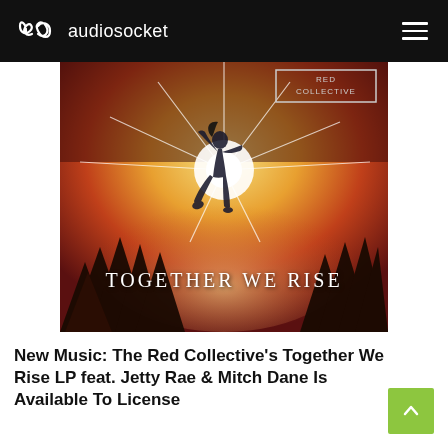audiosocket
[Figure (photo): Album artwork for 'Together We Rise' by The Red Collective — a person leaping upward with a burst of light at their center, silhouetted against a dramatic red and golden sky with pine trees below. Text on the image reads 'TOGETHER WE RISE' and a logo reading 'RED COLLECTIVE' appears in the upper right corner.]
New Music: The Red Collective's Together We Rise LP feat. Jetty Rae & Mitch Dane Is Available To License